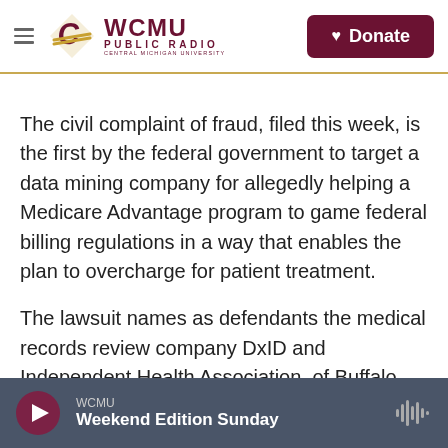WCMU PUBLIC RADIO — Central Michigan University | Donate
The civil complaint of fraud, filed this week, is the first by the federal government to target a data mining company for allegedly helping a Medicare Advantage program to game federal billing regulations in a way that enables the plan to overcharge for patient treatment.
The lawsuit names as defendants the medical records review company DxID and Independent Health Association, of Buffalo, which operates two Medicare Advantage plans. Betsy Gaffney, DxID's founder and CEO, is also named in the suit. DxID,
WCMU — Weekend Edition Sunday